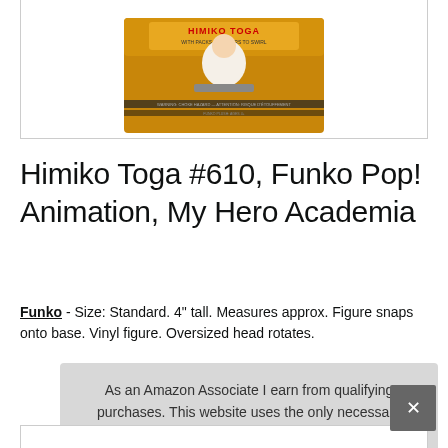[Figure (photo): Himiko Toga Funko Pop box product image, partially cropped at top, showing gold box with character figure]
Himiko Toga #610, Funko Pop! Animation, My Hero Academia
Funko - Size: Standard. 4" tall. Measures approx. Figure snaps onto base. Vinyl figure. Oversized head rotates.
As an Amazon Associate I earn from qualifying purchases. This website uses the only necessary cookies to ensure you get the best experience on our website. More information